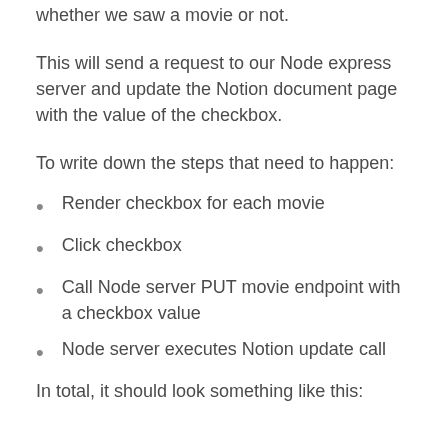whether we saw a movie or not.
This will send a request to our Node express server and update the Notion document page with the value of the checkbox.
To write down the steps that need to happen:
Render checkbox for each movie
Click checkbox
Call Node server PUT movie endpoint with a checkbox value
Node server executes Notion update call
In total, it should look something like this: